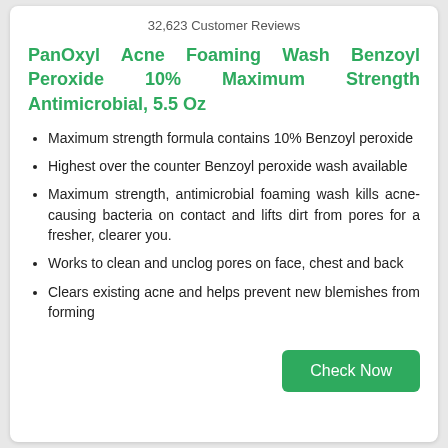32,623 Customer Reviews
PanOxyl Acne Foaming Wash Benzoyl Peroxide 10% Maximum Strength Antimicrobial, 5.5 Oz
Maximum strength formula contains 10% Benzoyl peroxide
Highest over the counter Benzoyl peroxide wash available
Maximum strength, antimicrobial foaming wash kills acne-causing bacteria on contact and lifts dirt from pores for a fresher, clearer you.
Works to clean and unclog pores on face, chest and back
Clears existing acne and helps prevent new blemishes from forming
Check Now